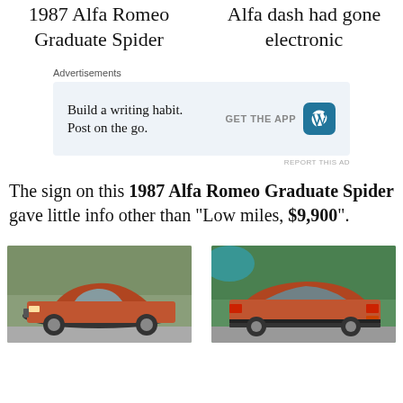1987 Alfa Romeo Graduate Spider
Alfa dash had gone electronic
[Figure (screenshot): Advertisement box: 'Build a writing habit. Post on the go.' with GET THE APP button and WordPress logo]
The sign on this 1987 Alfa Romeo Graduate Spider gave little info other than “Low miles, $9,900”.
[Figure (photo): Front-side view of a red 1987 Alfa Romeo Graduate Spider parked outside against a hedge wall]
[Figure (photo): Rear-side view of a red 1987 Alfa Romeo Graduate Spider parked outside against a hedge/plant wall]